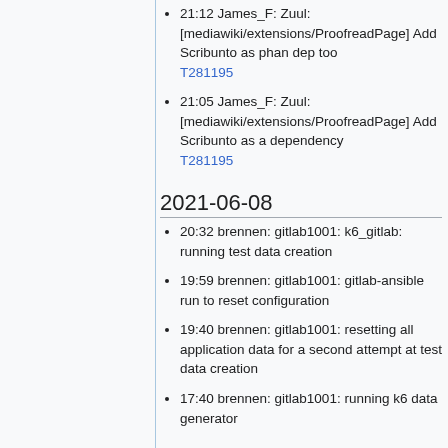21:12 James_F: Zuul: [mediawiki/extensions/ProofreadPage] Add Scribunto as phan dep too T281195
21:05 James_F: Zuul: [mediawiki/extensions/ProofreadPage] Add Scribunto as a dependency T281195
2021-06-08
20:32 brennen: gitlab1001: k6_gitlab: running test data creation
19:59 brennen: gitlab1001: gitlab-ansible run to reset configuration
19:40 brennen: gitlab1001: resetting all application data for a second attempt at test data creation
17:40 brennen: gitlab1001: running k6 data generator